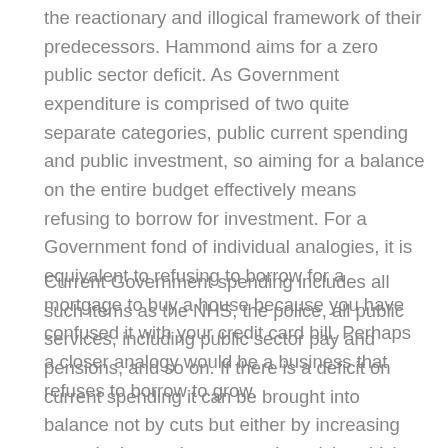the reactionary and illogical framework of their predecessors. Hammond aims for a zero public sector deficit. As Government expenditure is comprised of two quite separate categories, public current spending and public investment, so aiming for a balance on the entire budget effectively means refusing to borrow for investment. For a Government fond of individual analogies, it is equivalent to refusing to borrow for a mortgage to buy a house because you have confused it with your credit card bill. Perhaps a closer analogy would be a business that refuses to borrow to grow.
Current Government spending includes all such items as the NHS, the police, all public services, including public sector pay and pensions, and so on. If there is a deficit on current spending it can be brought into balance not by cuts but either by increasing tax or by increasing economic activity which generates tax revenue. As only the latter can sustainable be repeated, the way to raise revenue is by increasing